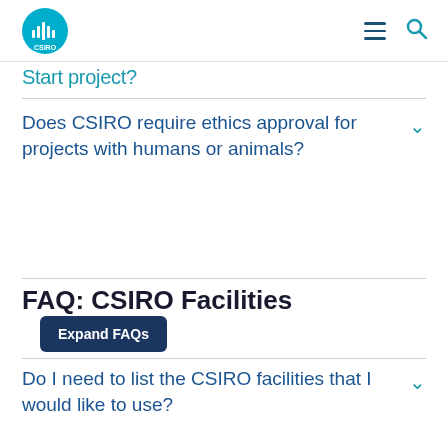CSIRO navigation header with logo, hamburger menu, and search icon
Start project?
Does CSIRO require ethics approval for projects with humans or animals?
FAQ: CSIRO Facilities
Do I need to list the CSIRO facilities that I would like to use?